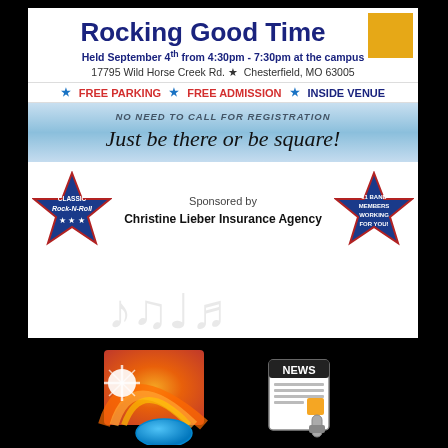Rocking Good Time
Held September 4th from 4:30pm - 7:30pm at the campus
17795 Wild Horse Creek Rd. ★ Chesterfield, MO 63005
★ FREE PARKING ★ FREE ADMISSION ★ INSIDE VENUE
NO NEED TO CALL FOR REGISTRATION
Just be there or be square!
Sponsored by Christine Lieber Insurance Agency
[Figure (infographic): Blue star on left with 'CLASSIC Rock-N-Roll' text and musical notes in background]
[Figure (logo): News broadcast logo with sunrise/globe graphic and NEWS paper icon on black background]